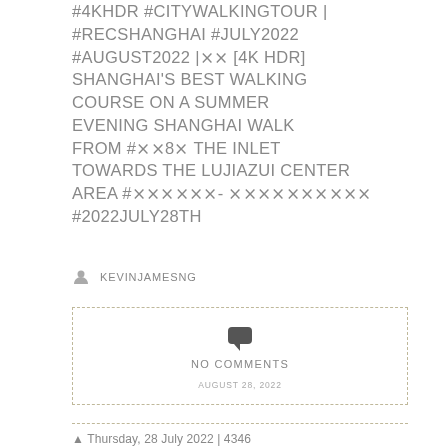#4KHDR #CITYWALKINGTOUR | #RECSHANGHAI #JULY2022 #AUGUST2022 |🀄 [4K HDR] SHANGHAI'S BEST WALKING COURSE ON A SUMMER EVENING SHANGHAI WALK FROM #🀄🀄8🀄 THE INLET TOWARDS THE LUJIAZUI CENTER AREA #🀄🀄🀄🀄🀄🀄- 🀄🀄🀄🀄🀄🀄🀄🀄🀄🀄 #2022JULY28TH
KEVINJAMESNG
[Figure (infographic): Comment box with dashed border containing chat bubble icon, NO COMMENTS text, and date AUGUST 28, 2022]
▲ Thursday, 28 July 2022 | 4346...